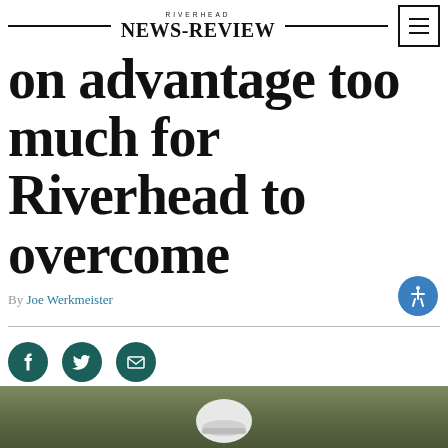RIVERHEAD NEWS-REVIEW
on advantage too much for Riverhead to overcome
By Joe Werkmeister
[Figure (photo): Photo of cyclists wearing helmets at the bottom of the page]